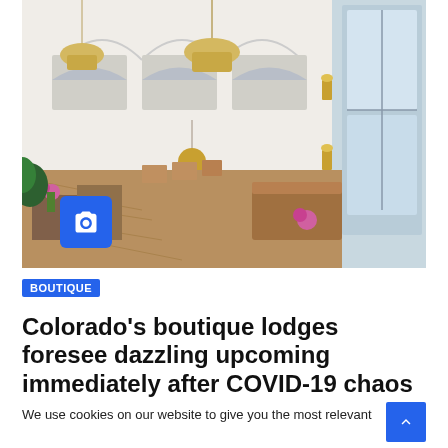[Figure (photo): Interior of a large elegant hotel lobby or restaurant space with high ceilings, arched windows, gold chandeliers, and warm wood furniture. Orchids and plants are visible. Large windows on the right let in daylight.]
BOUTIQUE
Colorado's boutique lodges foresee dazzling upcoming immediately after COVID-19 chaos
We use cookies on our website to give you the most relevant